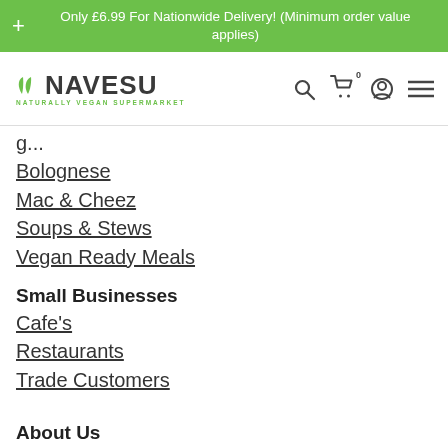+ Only £6.99 For Nationwide Delivery! (Minimum order value applies)
[Figure (logo): Navesu - Naturally Vegan Supermarket logo with green leaf icon]
Bolognese
Mac & Cheez
Soups & Stews
Vegan Ready Meals
Small Businesses
Cafe's
Restaurants
Trade Customers
About Us
Our Story
Delivery Information
Returns Policy